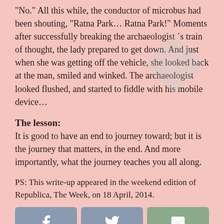“No.” All this while, the conductor of microbus had been shouting, “Ratna Park… Ratna Park!” Moments after successfully breaking the archaeologistʼs train of thought, the lady prepared to get down. And just when she was getting off the vehicle, she looked back at the man, smiled and winked. The archaeologist looked flushed, and started to fiddle with his mobile device…
The lesson:
It is good to have an end to journey toward; but it is the journey that matters, in the end. And more importantly, what the journey teaches you all along.
PS: This write-up appeared in the weekend edition of Republica, The Week, on 18 April, 2014.
[Figure (other): Social share buttons: Facebook (grey), Twitter (grey), Email (green)]
Related